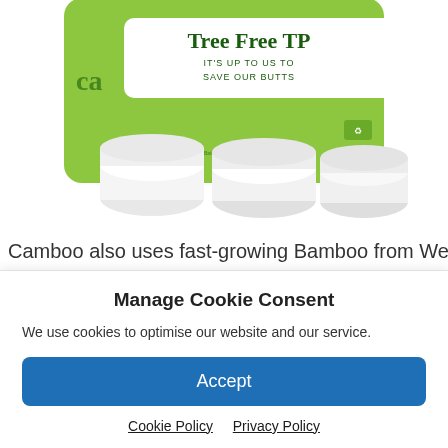[Figure (photo): Product packaging for Camboo Tree Free TP bamboo toilet paper, shown in green packaging with white text reading 'Tree Free TP – IT'S UP TO US TO SAVE OUR BUTTS'. Multiple rolls visible at the bottom.]
Camboo also uses fast-growing Bamboo from Western
Manage Cookie Consent
We use cookies to optimise our website and our service.
Accept
Cookie Policy   Privacy Policy